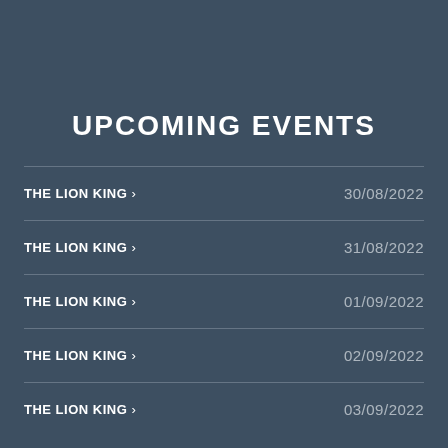UPCOMING EVENTS
THE LION KING > 30/08/2022
THE LION KING > 31/08/2022
THE LION KING > 01/09/2022
THE LION KING > 02/09/2022
THE LION KING > 03/09/2022